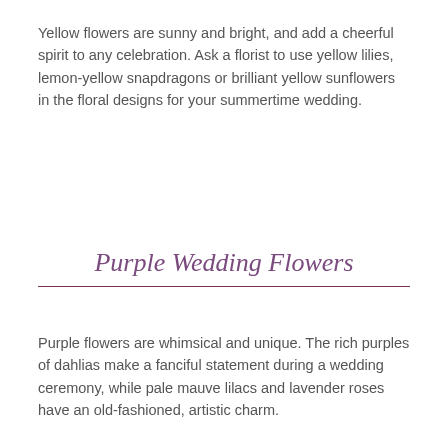Yellow flowers are sunny and bright, and add a cheerful spirit to any celebration. Ask a florist to use yellow lilies, lemon-yellow snapdragons or brilliant yellow sunflowers in the floral designs for your summertime wedding.
Purple Wedding Flowers
Purple flowers are whimsical and unique. The rich purples of dahlias make a fanciful statement during a wedding ceremony, while pale mauve lilacs and lavender roses have an old-fashioned, artistic charm.